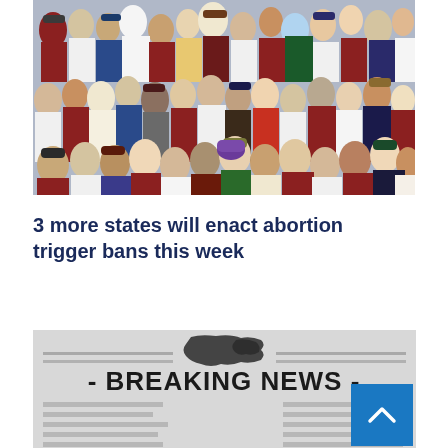[Figure (photo): Large crowd of people packed together, many wearing caps and casual clothing in various colors including red, white, and yellow.]
3 more states will enact abortion trigger bans this week
[Figure (photo): Breaking News graphic with world map silhouette at top center and text '- BREAKING NEWS -' in large bold letters on a newspaper-style grey background with horizontal text lines.]